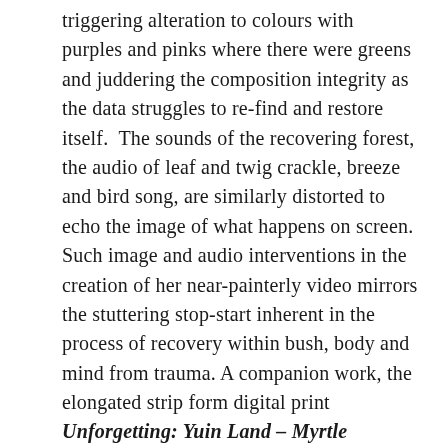triggering alteration to colours with purples and pinks where there were greens and juddering the composition integrity as the data struggles to re-find and restore itself.  The sounds of the recovering forest, the audio of leaf and twig crackle, breeze and bird song, are similarly distorted to echo the image of what happens on screen. Such image and audio interventions in the creation of her near-painterly video mirrors the stuttering stop-start inherent in the process of recovery within bush, body and mind from trauma. A companion work, the elongated strip form digital print Unforgetting: Yuin Land – Myrtle Mountain is developed from a collage of still images from drone footage.